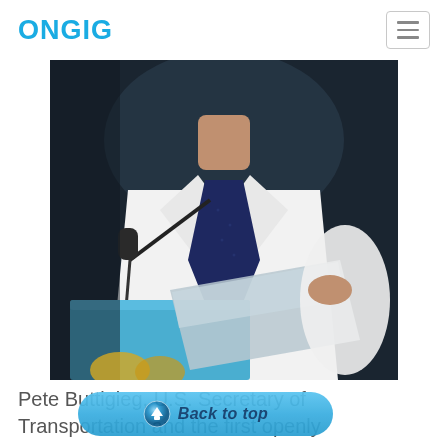ONGIG
[Figure (photo): A man in a white dress shirt and dark navy tie standing at a podium with a microphone, holding papers, appears to be giving a speech. Background is dark. Blue podium visible at bottom left.]
Pete Buttigieg, U.S. Secretary of Transportation and the first openly